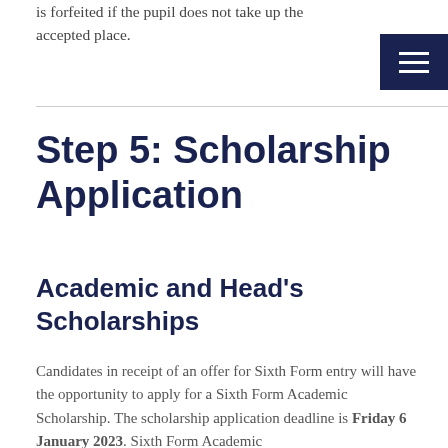is forfeited if the pupil does not take up the accepted place.
Step 5: Scholarship Application
Academic and Head's Scholarships
Candidates in receipt of an offer for Sixth Form entry will have the opportunity to apply for a Sixth Form Academic Scholarship. The scholarship application deadline is Friday 6 January 2023. Sixth Form Academic